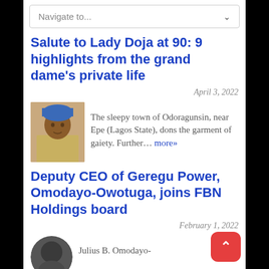Navigate to...
Salute to Lady Doja at 90: 9 highlights from the grand dame’s private life
April 3, 2022
[Figure (photo): Photo of a woman in traditional Nigerian attire with blue head wrap]
The sleepy town of Odoragunsin, near Epe (Lagos State), dons the garment of gaiety. Further… more»
Deputy CEO of Geregu Power, Omodayo-Owotuga, joins FBN Holdings board
February 1, 2022
[Figure (photo): Circular portrait photo of Julius B. Omodayo-]
Julius B. Omodayo-